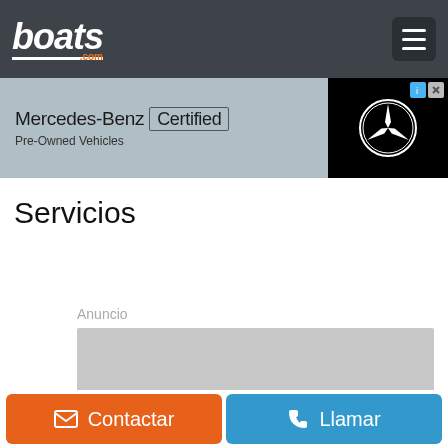boats.com
[Figure (screenshot): Mercedes-Benz Certified Pre-Owned Vehicles advertisement banner with Mercedes-Benz logo on black background]
Servicios
Anuncio
[Figure (other): Gray placeholder advertisement block]
Contactar
Llamar